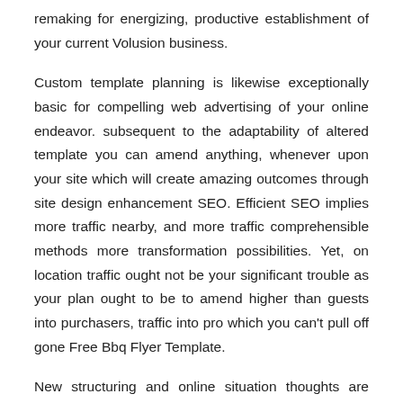remaking for energizing, productive establishment of your current Volusion business.
Custom template planning is likewise exceptionally basic for compelling web advertising of your online endeavor. subsequent to the adaptability of altered template you can amend anything, whenever upon your site which will create amazing outcomes through site design enhancement SEO. Efficient SEO implies more traffic nearby, and more traffic comprehensible methods more transformation possibilities. Yet, on location traffic ought not be your significant trouble as your plan ought to be to amend higher than guests into purchasers, traffic into pro which you can't pull off gone Free Bbq Flyer Template.
New structuring and online situation thoughts are hitting the push morning by hours of daylight and for augmented move on of any sleepy template based outlet, it's unavoidable to save refreshed once them. Custom template structuring effectively grasps every